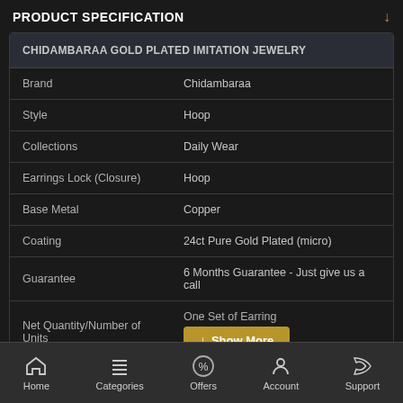PRODUCT SPECIFICATION
| CHIDAMBARAA GOLD PLATED IMITATION JEWELRY |  |
| --- | --- |
| Brand | Chidambaraa |
| Style | Hoop |
| Collections | Daily Wear |
| Earrings Lock (Closure) | Hoop |
| Base Metal | Copper |
| Coating | 24ct Pure Gold Plated (micro) |
| Guarantee | 6 Months Guarantee - Just give us a call |
| Net Quantity/Number of Units | One Set of Earring |
Home  Categories  Offers  Account  Support